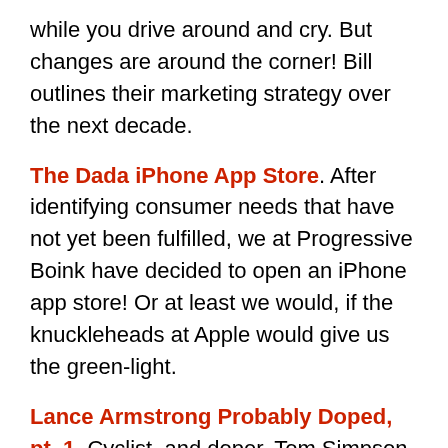while you drive around and cry. But changes are around the corner! Bill outlines their marketing strategy over the next decade.
The Dada iPhone App Store. After identifying consumer needs that have not yet been fulfilled, we at Progressive Boink have decided to open an iPhone app store! Or at least we would, if the knuckleheads at Apple would give us the green-light.
Lance Armstrong Probably Doped, pt. 1. Cyclist, and doper, Tom Simpson, falls off his bike in the middle of the race. "Put me back on my bike," he tells spectators. They do, and then he falls over dead. Pete recounts this and several other tales of riders who have doped throughout the history of cycling.
Lance Armstrong Probably Doped, pt. 2. Pete...